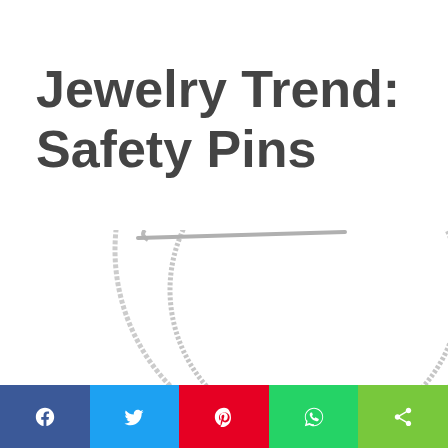Jewelry Trend: Safety Pins
[Figure (photo): A circular silver chain necklace photographed on white background, partially visible, showing the round shape of the necklace with a fine chain texture]
[Figure (infographic): Social media sharing bar with five buttons: Facebook (blue, f icon), Twitter (light blue, bird icon), Pinterest (red, P icon), WhatsApp (green, phone icon), Share (lime green, share icon)]